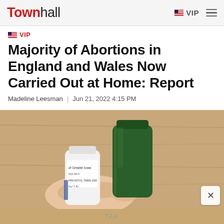Townhall | VIP
VIP
Majority of Abortions in England and Wales Now Carried Out at Home: Report
Madeline Leesman | Jun 21, 2022 4:15 PM
[Figure (photo): A hand holding two medication bottles, one with a green cap and one with a white cap with partial label reading 'PROSTOL TABS 200...' and 'Greater Iowa'. Background is a wooden surface.]